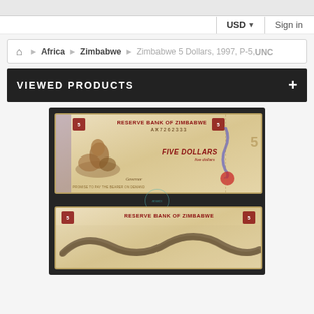USD ▼ | Sign in
🏠 > Africa > Zimbabwe > Zimbabwe 5 Dollars, 1997, P-5, UNC
VIEWED PRODUCTS +
[Figure (photo): Zimbabwe 5 Dollars banknote front and back. Front: Reserve Bank of Zimbabwe, FIVE DOLLARS, serial number AX7262333. Back: Reserve Bank of Zimbabwe with animal/snake design.]